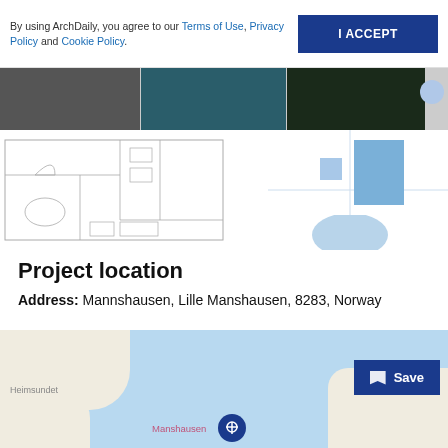By using ArchDaily, you agree to our Terms of Use, Privacy Policy and Cookie Policy.
I ACCEPT
[Figure (photo): Horizontal strip of three architectural photos: interior with dark furniture, teal underwater/pool view, dark dramatic exterior]
[Figure (engineering-diagram): Architectural floor plan blueprint on left; geometric diagram with light blue rectangles and semicircle on right]
Project location
Address:  Mannshausen, Lille Manshausen, 8283, Norway
[Figure (map): Map showing coastal area near Manshausen, Norway with light blue water, beige land masses, a location pin marker, and a Save button overlay. Labels: Heimsundet, Manshausen]